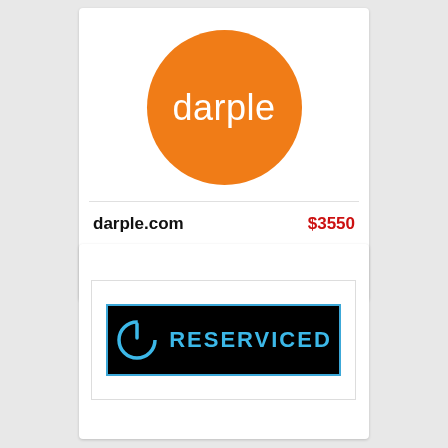[Figure (logo): Orange circle logo with white text 'darple' inside]
darple.com    $3550
Anyone who tries to take on the might of EBAY is either an entrenched genius or...
[Figure (logo): Black banner with blue border showing a power icon and 'RESERVICED' in blue text]